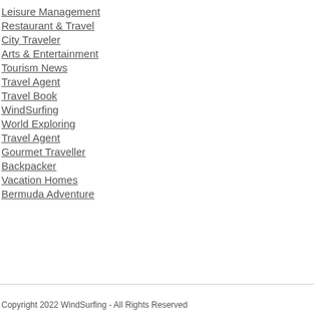Leisure Management
Restaurant & Travel
City Traveler
Arts & Entertainment
Tourism News
Travel Agent
Travel Book
WindSurfing
World Exploring
Travel Agent
Gourmet Traveller
Backpacker
Vacation Homes
Bermuda Adventure
Copyright 2022 WindSurfing - All Rights Reserved